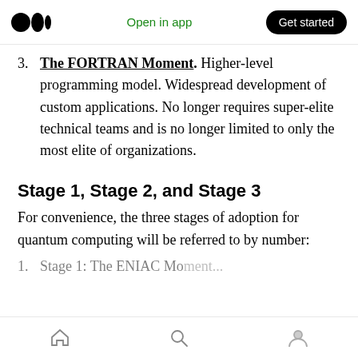Medium app header — Open in app | Get started
3. The FORTRAN Moment. Higher-level programming model. Widespread development of custom applications. No longer requires super-elite technical teams and is no longer limited to only the most elite of organizations.
Stage 1, Stage 2, and Stage 3
For convenience, the three stages of adoption for quantum computing will be referred to by number:
1. Stage 1: The ENIAC Moment...
Home | Search | Profile